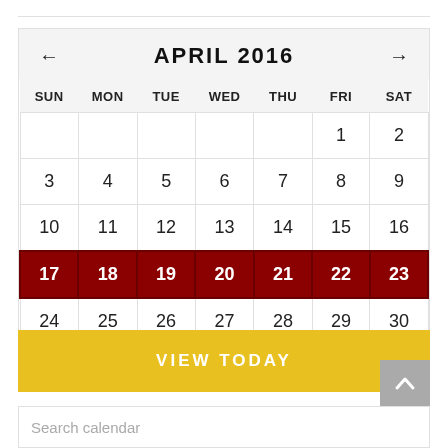[Figure (other): April 2016 calendar widget with navigation arrows, days of week headers, date grid with week of April 17-23 highlighted in dark red]
VIEW TODAY
Search calendar